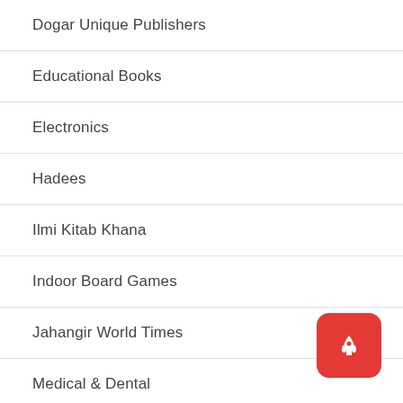Dogar Unique Publishers
Educational Books
Electronics
Hadees
Ilmi Kitab Khana
Indoor Board Games
Jahangir World Times
Medical & Dental
Publishers
Quran Pak
[Figure (illustration): Red rounded square button with white rocket/arrow-up icon (FAB button)]